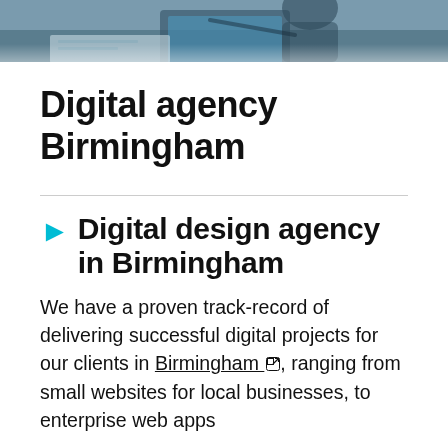[Figure (photo): Top portion of a photo showing a person working at a laptop with papers/documents, cropped at the top of the page]
Digital agency Birmingham
► Digital design agency in Birmingham
We have a proven track-record of delivering successful digital projects for our clients in Birmingham, ranging from small websites for local businesses, to enterprise web apps